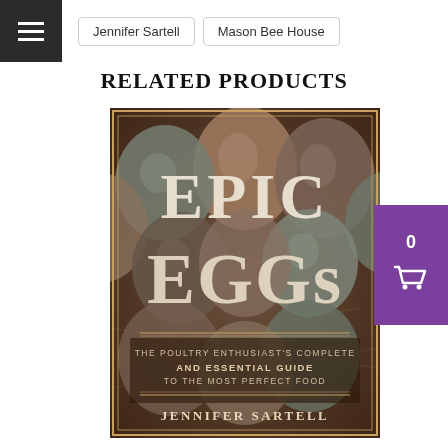≡  Jennifer Sartell  Mason Bee House
RELATED PRODUCTS
[Figure (photo): Book cover of 'Epic Eggs: The Poultry Enthusiast's Complete and Essential Guide to the Most Perfect Food' by Jennifer Sartell. Cover shows various colorful eggs photographed against a nest background.]
[Figure (other): Purple shopping cart widget showing count of 0 with a shopping cart icon]